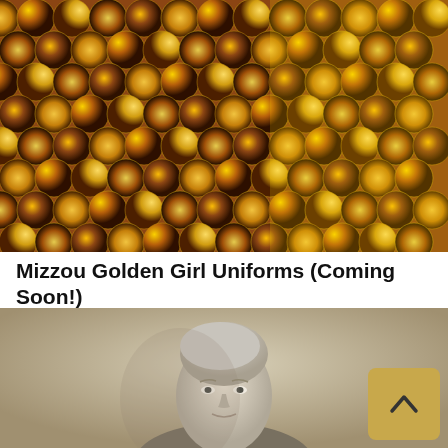[Figure (photo): Close-up of golden sequin/disc material arranged in overlapping rows, shimmering in gold, amber, and brown tones]
Mizzou Golden Girl Uniforms (Coming Soon!)
[Figure (photo): Black and white portrait photograph of a woman with light-colored upswept hair, looking slightly to the side, with a gold scroll-to-top button overlay in the bottom right corner]